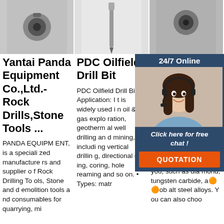[Figure (photo): Three product photos at top: left shows a drill bit end (dark metal), center shows a long drill bit/rod on white background, right shows a drill bit on grey background]
Yantai Panda Equipment Co.,Ltd.-Rock Drills,Stone Tools ...
PANDA EQUIPMENT, is a specialized manufacturers and supplier of Rock Drilling Tools, Stone and demolition tools and consumables for quarrying, mi
PDC Oilfield Drill Bit
PDC Oilfield Drill Bit. Application: It is widely used in oil & gas exploration, geothermal well drilling and mining, including vertical drilling, directional drilling, coring, hole reaming and so on. • Types: matr
China Gra Ch Gra Ma An
A w gran s an you, such as diamond, tungsten carbide, a TOP ob alt steel alloys. You can also choo
[Figure (photo): Chat widget overlay: dark blue panel with '24/7 Online' header, photo of smiling woman with headset, 'Click here for free chat!' text, and orange QUOTATION button]